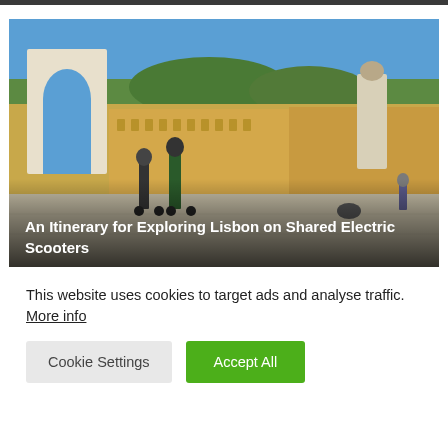[Figure (photo): Photo of Lisbon's Praça do Comércio square with people riding shared electric scooters in the foreground, ornate arch on the left, colorful buildings and a statue in the background under blue sky. Overlaid title text reads 'An Itinerary for Exploring Lisbon on Shared Electric Scooters'.]
This website uses cookies to target ads and analyse traffic. More info
Cookie Settings | Accept All